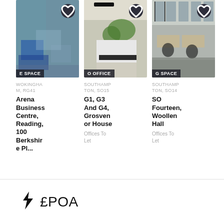[Figure (photo): Interior photo of a coworking/office space with blue furniture, large windows. Label overlay reads 'E SPACE'. Heart/favourite button in top right corner.]
WOKINGHAM, RG41
Arena Business Centre, Reading, 100 Berkshir...
[Figure (photo): Interior photo of a serviced office with plants and white countertop. Label overlay reads 'O OFFICE'. Heart/favourite button in top right corner.]
SOUTHAMPTON, SO15
G1, G3 And G4, Grosvenor House
Offices To Let
[Figure (photo): Interior photo of a coworking space with desks and office chairs. Label overlay reads 'G SPACE'. Heart/favourite button in top right corner.]
SOUTHAMPTON, SO14
SO Fourteen, Woollen Hall
Offices To Let
£POA